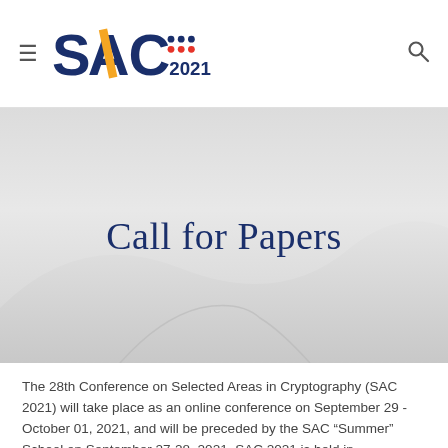SAC 2021
Call for Papers
The 28th Conference on Selected Areas in Cryptography (SAC 2021) will take place as an online conference on September 29 - October 01, 2021, and will be preceded by the SAC “Summer” School on September 27-28, 2021. SAC 2021 is held in cooperation with the International Association for Cryptologic Research (IACR).